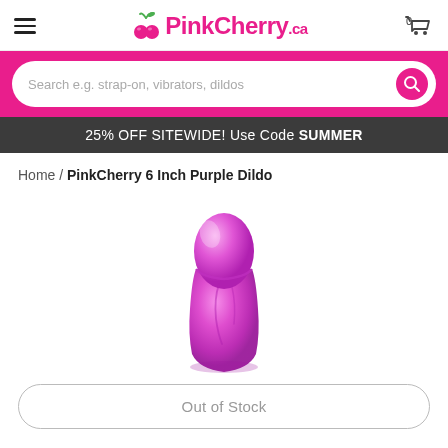PinkCherry.ca
Search e.g. strap-on, vibrators, dildos
25% OFF SITEWIDE! Use Code SUMMER
Home / PinkCherry 6 Inch Purple Dildo
[Figure (photo): Product photo of a purple 6-inch dildo on white background]
Out of Stock